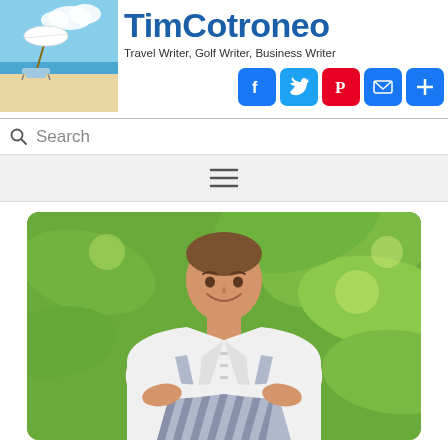TimCotroneo - Travel Writer, Golf Writer, Business Writer
[Figure (photo): Website header banner for TimCotroneo.com showing beach scene with umbrella and lounge chair on left, site title 'TimCotroneo' in large blue text with subtitle 'Travel Writer, Golf Writer, Business Writer', social media icons (Facebook, Twitter, Pinterest, Email, Plus) on right, and a search bar below]
[Figure (photo): Photo of a young male chef in white chef's coat and blue-striped apron, arms crossed, smiling, standing outdoors in front of large green tropical leaves]